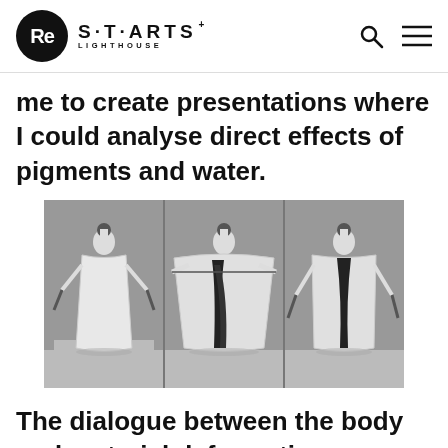Re S·T·ARTS+ LIGHTHOUSE
me to create presentations where I could analyse direct effects of pigments and water.
[Figure (photo): Black and white fashion show photo showing three models wearing flowing silk/satin garments on a stage. The models are in different poses; the leftmost in white flowing outfit, the middle in a dark pigment-stained white garment spreading arms wide, and the rightmost in a similar dark-stained white garment holding props.]
The dialogue between the body and material deformation were key research points. It started